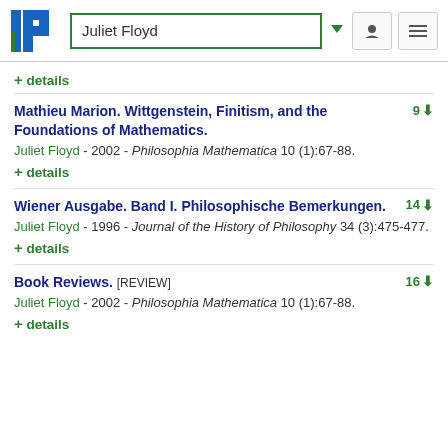Juliet Floyd
+ details
Mathieu Marion. Wittgenstein, Finitism, and the Foundations of Mathematics.
Juliet Floyd - 2002 - Philosophia Mathematica 10 (1):67-88.
+ details
Wiener Ausgabe. Band I. Philosophische Bemerkungen.
Juliet Floyd - 1996 - Journal of the History of Philosophy 34 (3):475-477.
+ details
Book Reviews. [REVIEW]
Juliet Floyd - 2002 - Philosophia Mathematica 10 (1):67-88.
+ details